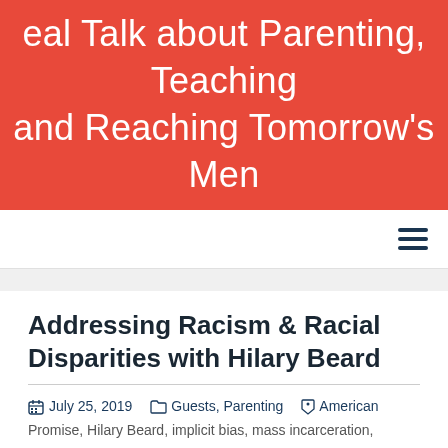Real Talk about Parenting, Teaching and Reaching Tomorrow's Men
Addressing Racism & Racial Disparities with Hilary Beard
July 25, 2019   Guests, Parenting   American Promise, Hilary Beard, implicit bias, mass incarceration, parenting, Promises Kept, racial disparities, racial wealth gap, racism, school, school to prison pipeline, zero tolerance